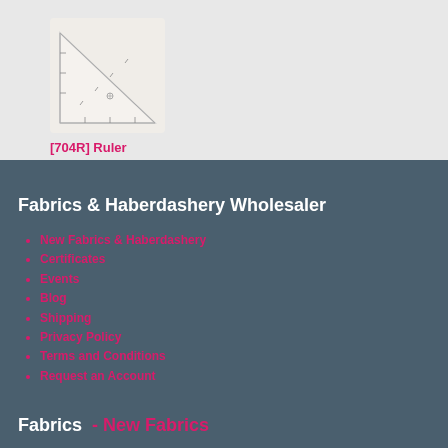[Figure (photo): Photo of a triangular ruler/set square with measurement markings, light colored background]
[704R] Ruler
Fabrics & Haberdashery Wholesaler
New Fabrics & Haberdashery
Certificates
Events
Blog
Shipping
Privacy Policy
Terms and Conditions
Request an Account
Fabrics - New Fabrics